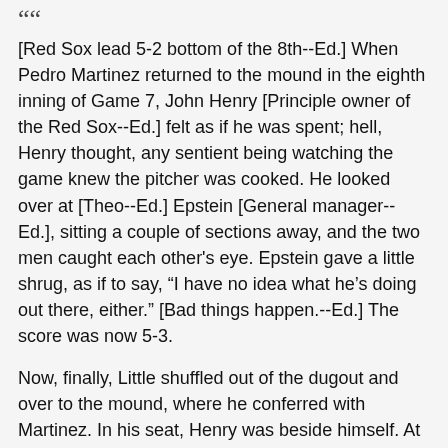" " [Red Sox lead 5-2 bottom of the 8th--Ed.] When Pedro Martinez returned to the mound in the eighth inning of Game 7, John Henry [Principle owner of the Red Sox--Ed.] felt as if he was spent; hell, Henry thought, any sentient being watching the game knew the pitcher was cooked. He looked over at [Theo--Ed.] Epstein [General manager--Ed.], sitting a couple of sections away, and the two men caught each other's eye. Epstein gave a little shrug, as if to say, "I have no idea what he's doing out there, either." [Bad things happen.--Ed.] The score was now 5-3.
Now, finally, Little shuffled out of the dugout and over to the mound, where he conferred with Martinez. In his seat, Henry was beside himself. At least, he reassured himself, there's still a two-run lead and Martinez was finally coming out of the game. Then, inexplicably, Little walked back to the dugout alone, leaving Martinez on the mound to face the dangerous Matsui. Henry turned to Lucchino [Other owner--Ed.]. "Can we fire [Little] right now?" Henry asked. "I felt pure rage," . . .